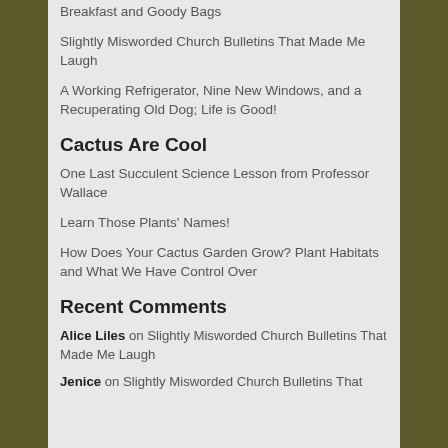Breakfast and Goody Bags
Slightly Misworded Church Bulletins That Made Me Laugh
A Working Refrigerator, Nine New Windows, and a Recuperating Old Dog; Life is Good!
Cactus Are Cool
One Last Succulent Science Lesson from Professor Wallace
Learn Those Plants' Names!
How Does Your Cactus Garden Grow? Plant Habitats and What We Have Control Over
Recent Comments
Alice Liles on Slightly Misworded Church Bulletins That Made Me Laugh
Jenice on Slightly Misworded Church Bulletins That